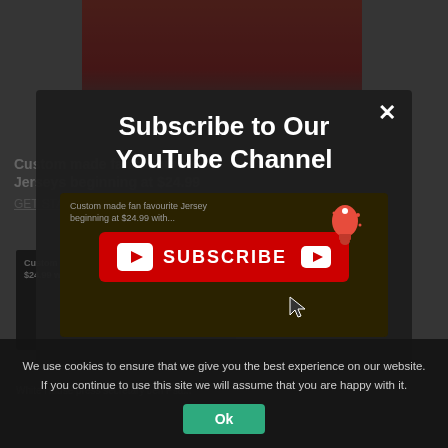[Figure (screenshot): Background webpage showing a woman in red at a press briefing, with article text about custom fan jerseys and a YouTube subscribe graphic. The background is dimmed by a dark overlay.]
Subscribe to Our YouTube Channel
[Figure (other): YouTube SUBSCRIBE button graphic with play icon, SUBSCRIBE text in white, YouTube logo icon, and a notification bell icon with mouse cursor hovering]
We use cookies to ensure that we give you the best experience on our website. If you continue to use this site we will assume that you are happy with it.
Ok